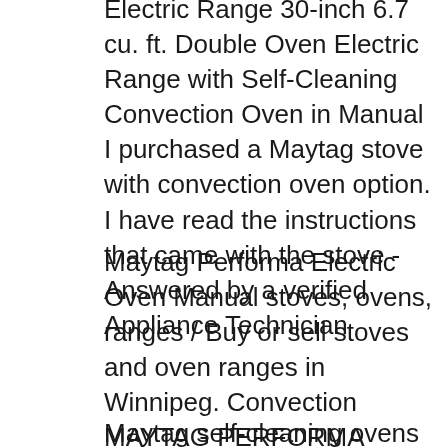Electric Range 30-inch 6.7 cu. ft. Double Oven Electric Range with Self-Cleaning Convection Oven in Manual I purchased a Maytag stove with convection oven option. I have read the instructions that came with the stove - Answered by a verified Appliance Technician
Maytag Performa Electric Oven Manual stoves, ovens, ranges / Buy or sell stoves and oven ranges in Winnipeg. Convection MAYTAG PERFORMA Range. - 30. Maytag Geminів„ÿ Range Service Manual 16010107 Oven Sensor perimeter of the convection fan cover. This
Maytag self-cleaning ovens have